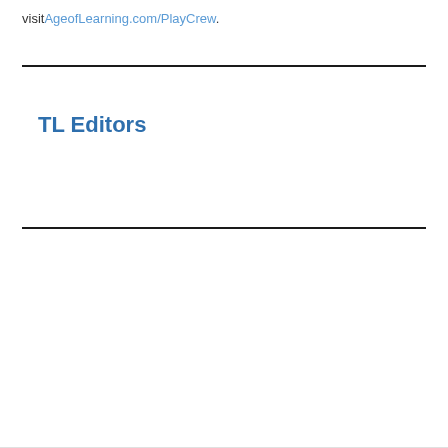visit AgeofLearning.com/PlayCrew.
TL Editors